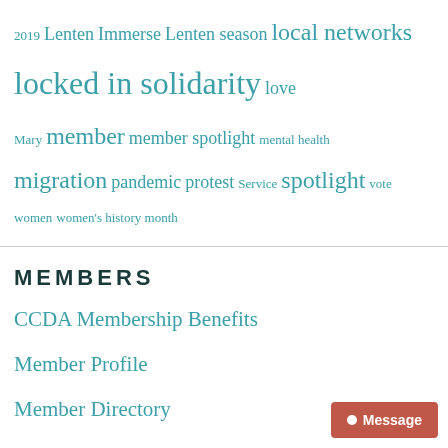2019 Lenten Immerse Lenten season local networks locked in solidarity love Mary member member spotlight mental health migration pandemic protest Service spotlight vote women women's history month
MEMBERS
CCDA Membership Benefits
Member Profile
Member Directory